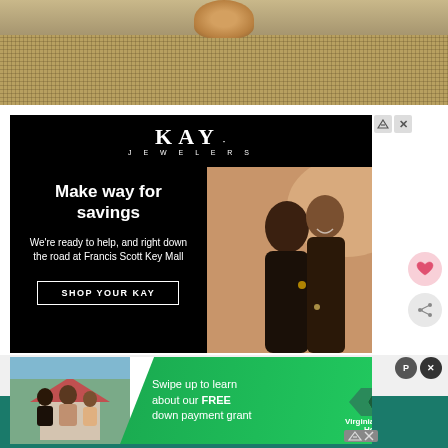[Figure (photo): Top portion of a food/lifestyle photo showing a burlap/woven mat with what appears to be a baked good, on a wooden surface]
[Figure (infographic): Kay Jewelers advertisement on black background. Shows KAY JEWELERS logo, text 'Make way for savings', 'We're ready to help, and right down the road at Francis Scott Key Mall', 'SHOP YOUR KAY' button, and a photo of a couple embracing]
[Figure (infographic): Virginia Housing advertisement with green diagonal banner. Text: 'Swipe up to learn about our FREE down payment grant'. Shows Virginia Housing logo and a photo of a family in front of a house.]